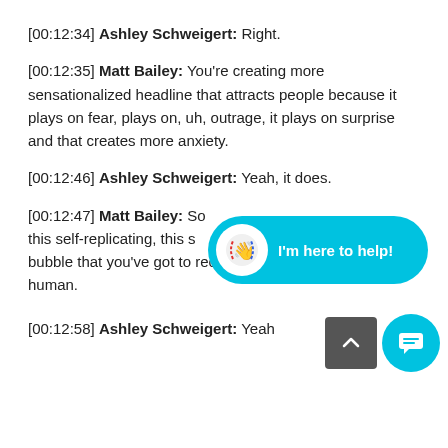[00:12:34] Ashley Schweigert: Right.
[00:12:35] Matt Bailey: You're creating more sensationalized headline that attracts people because it plays on fear, plays on, uh, outrage, it plays on surprise and that creates more anxiety.
[00:12:46] Ashley Schweigert: Yeah, it does.
[00:12:47] Matt Bailey: So this self-replicating, this s bubble that you've got to recognize people being human.
[00:12:58] Ashley Schweigert: Yeah
[Figure (screenshot): Chat widget overlay showing a cyan/teal rounded pill shape with a hand waving icon in a white circle and text 'I'm here to help!' in white, plus a dark grey collapse button and a cyan circular message button below.]